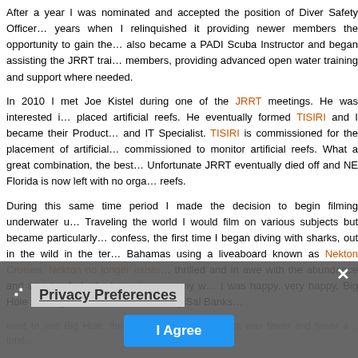After a year I was nominated and accepted the position of Diver Safety Officer... years when I relinquished it providing newer members the opportunity to gain the... also became a PADI Scuba Instructor and began assisting the JRRT trai... members, providing advanced open water training and support where needed.
In 2010 I met Joe Kistel during one of the JRRT meetings. He was interested i... placed artificial reefs. He eventually formed TISIRI and I became their Product... and IT Specialist. TISIRI is commissioned for the placement of artificial... commissioned to monitor artificial reefs. What a great combination, the best... Unfortunate JRRT eventually died off and NE Florida is now left with no orga... reefs.
During this same time period I made the decision to begin filming underwater u... Traveling the world I would film on various subjects but became particularly... confess, the first time I began diving with sharks, out in the wild in the ter... Bahamas using a liveaboard known as Nekton Cruises, Nekton no longer exists... thrilled and in awe with the abundance and variety of sharks I was in company w... I was happy, very happy. Big Hole was my favorite Blue Hole in Cay Sal Banks... went to visit Big Hole, the number of sharks present was fewer and fewer a... total...
I began wondering: why, where are they, where did they go, why di... I lost a big part of my family, my ... gone.
Privacy Preferences
I Agree